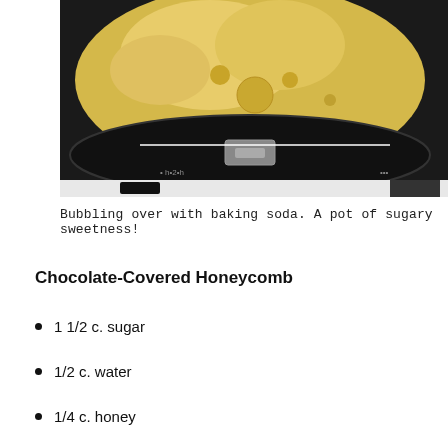[Figure (photo): A pot with yellow/cream-colored batter bubbling over the edges on a stove burner, photographed from above. Black background with some high-contrast areas.]
Bubbling over with baking soda. A pot of sugary sweetness!
Chocolate-Covered Honeycomb
1 1/2 c. sugar
1/2 c. water
1/4 c. honey